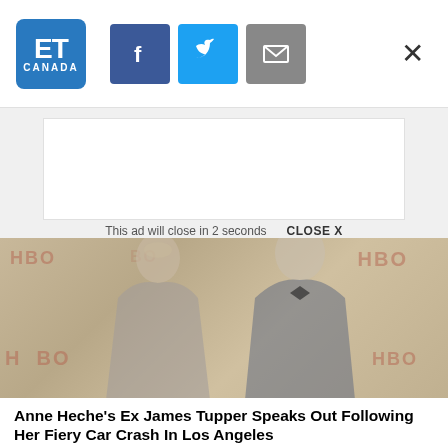ET Canada
This ad will close in 2 seconds   CLOSE X
[Figure (photo): Anne Heche and James Tupper posing together at an HBO event in front of an HBO step-and-repeat backdrop. Anne Heche wears a silver/sequined sleeveless gown, James Tupper wears a dark suit with black bow tie.]
Anne Heche's Ex James Tupper Speaks Out Following Her Fiery Car Crash In Los Angeles